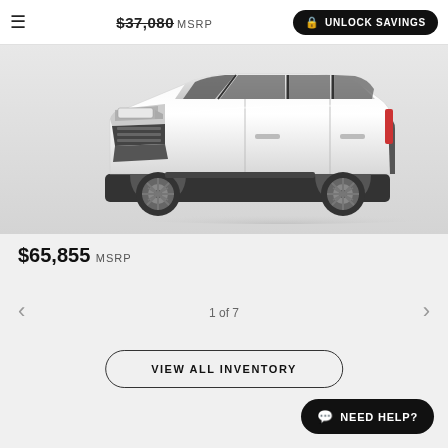$37,080 MSRP | UNLOCK SAVINGS
[Figure (photo): Side profile photo of a white Chevrolet Tahoe SUV on a light gray background]
$65,855 MSRP
1 of 7
VIEW ALL INVENTORY
NEED HELP?